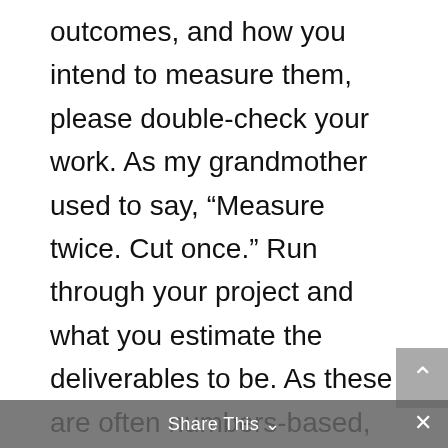outcomes, and how you intend to measure them, please double-check your work. As my grandmother used to say, “Measure twice. Cut once.” Run through your project and what you estimate the deliverables to be. As these are often numbers-based, it’s very important to check your math so that you don’t accidentally over or under-commit yourself. As outcomes are typically intangible (learning, evolving, improving) it’s important to discuss these with a fellow professional. Did you derive your outcome statements from past experience or current research within the field? Does your hypothesis of what the project outcomes will be make sense to a fellow museum professional? It’s best to check these now
Share This